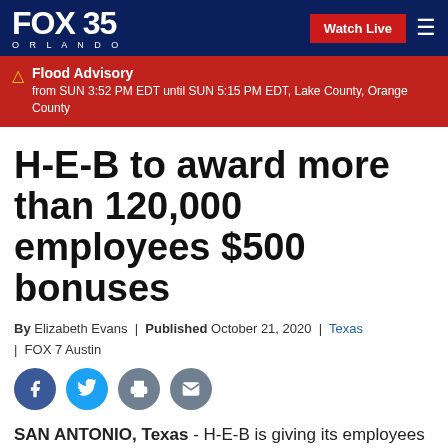FOX 35 ORLANDO | Watch Live
Flood Advisory from SUN 3:52 PM EDT until SUN 5:15 PM EDT, Lake County, Orange County
H-E-B to award more than 120,000 employees $500 bonuses
By Elizabeth Evans | Published October 21, 2020 | Texas | FOX 7 Austin
[Figure (other): Social sharing icons: Facebook, Twitter, Print, Email]
SAN ANTONIO, Texas - H-E-B is giving its employees across the state a "Texas-sized thank you" in the form of $500 bonuses.